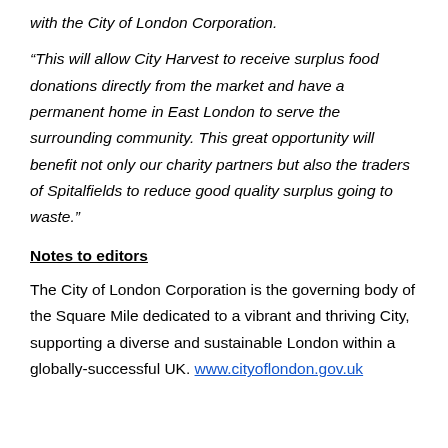with the City of London Corporation.
“This will allow City Harvest to receive surplus food donations directly from the market and have a permanent home in East London to serve the surrounding community. This great opportunity will benefit not only our charity partners but also the traders of Spitalfields to reduce good quality surplus going to waste.”
Notes to editors
The City of London Corporation is the governing body of the Square Mile dedicated to a vibrant and thriving City, supporting a diverse and sustainable London within a globally-successful UK. www.cityoflondon.gov.uk